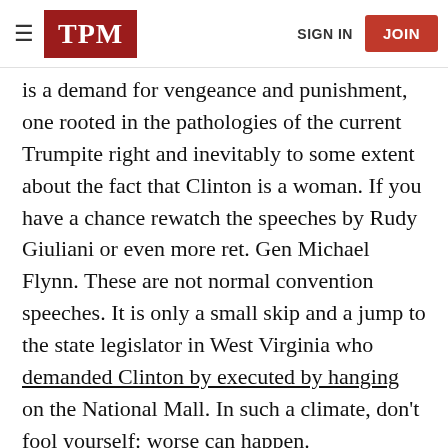TPM | SIGN IN | JOIN
is a demand for vengeance and punishment, one rooted in the pathologies of the current Trumpite right and inevitably to some extent about the fact that Clinton is a woman. If you have a chance rewatch the speeches by Rudy Giuliani or even more ret. Gen Michael Flynn. These are not normal convention speeches. It is only a small skip and a jump to the state legislator in West Virginia who demanded Clinton by executed by hanging on the National Mall. In such a climate, don't fool yourself: worse can happen.
The Trump campaign has always been about